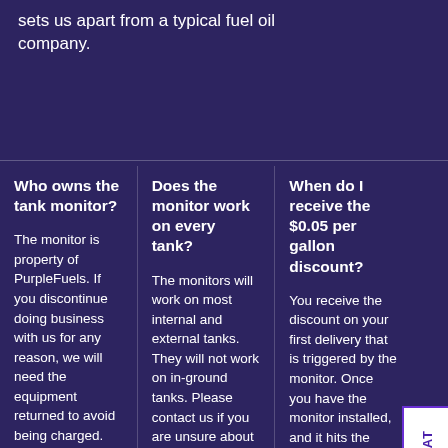sets us apart from a typical fuel oil company.
Who owns the tank monitor?
The monitor is property of PurpleFuels. If you discontinue doing business with us for any reason, we will need the equipment returned to avoid being charged.
Does the monitor work on every tank?
The monitors will work on most internal and external tanks. They will not work on in-ground tanks. Please contact us if you are unsure about whether it will work in your situation.
When do I receive the $0.05 per gallon discount?
You receive the discount on your first delivery that is triggered by the monitor. Once you have the monitor installed, and it hits the predetermined level for a fill, then we come out and